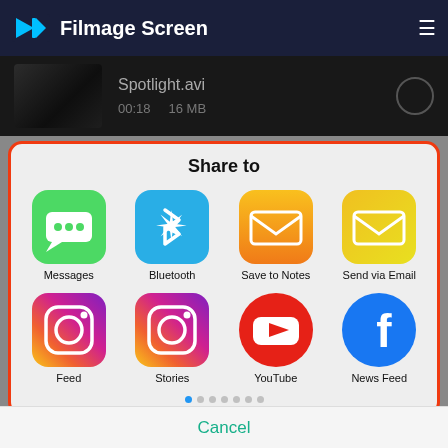Filmage Screen
[Figure (screenshot): Video file preview showing Spotlight.avi, 00:18, 16 MB]
Share to
[Figure (screenshot): Share sheet with 8 app icons: Messages, Bluetooth, Save to Notes, Send via Email, Feed (Instagram), Stories (Instagram), YouTube, News Feed (Facebook)]
Cancel